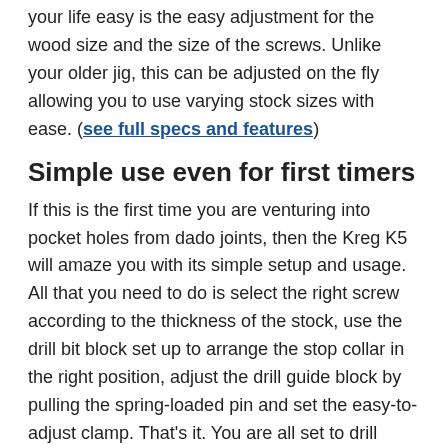your life easy is the easy adjustment for the wood size and the size of the screws. Unlike your older jig, this can be adjusted on the fly allowing you to use varying stock sizes with ease. (see full specs and features)
Simple use even for first timers
If this is the first time you are venturing into pocket holes from dado joints, then the Kreg K5 will amaze you with its simple setup and usage. All that you need to do is select the right screw according to the thickness of the stock, use the drill bit block set up to arrange the stop collar in the right position, adjust the drill guide block by pulling the spring-loaded pin and set the easy-to-adjust clamp. That's it. You are all set to drill pocket holes.
The package also includes two large sized support wings that can be attached to the base provide stability to the stock. This also includes a storage compartment that can store your screws, bits and other sundry details.